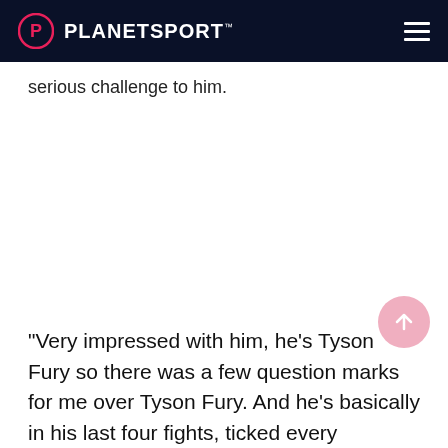PLANETSPORT
serious challenge to him.
"Very impressed with him, he's Tyson Fury so there was a few question marks for me over Tyson Fury. And he's basically in his last four fights, ticked every